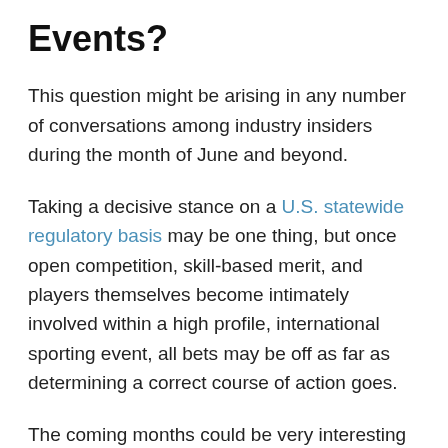Events?
This question might be arising in any number of conversations among industry insiders during the month of June and beyond.
Taking a decisive stance on a U.S. statewide regulatory basis may be one thing, but once open competition, skill-based merit, and players themselves become intimately involved within a high profile, international sporting event, all bets may be off as far as determining a correct course of action goes.
The coming months could be very interesting (and controversial) if more major sporting events are impacted as a result of Russia's ongoing invasion of Ukraine along with...